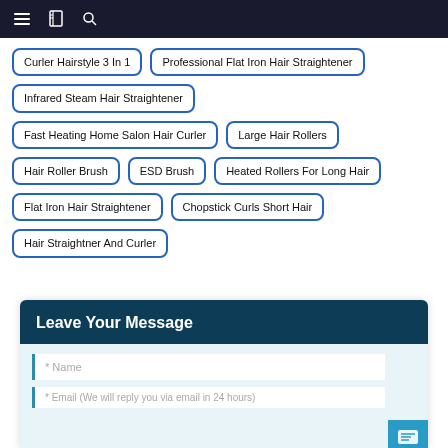Navigation bar with menu, book, and search icons
Curler Hairstyle 3 In 1
Professional Flat Iron Hair Straightener
Infrared Steam Hair Straightener
Fast Heating Home Salon Hair Curler
Large Hair Rollers
Hair Roller Brush
ESD Brush
Heated Rollers For Long Hair
Flat Iron Hair Straightener
Chopstick Curls Short Hair
Hair Straightner And Curler
Leave Your Message
* Name
* Email (We will reply you via email in 24 hours)